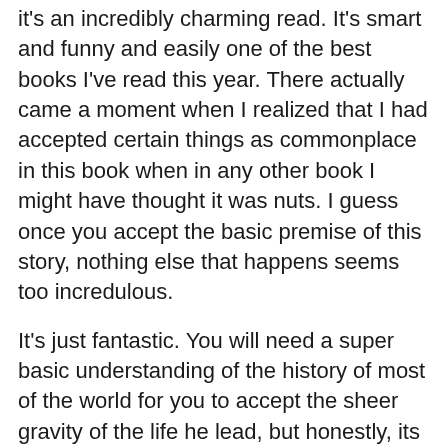it's an incredibly charming read. It's smart and funny and easily one of the best books I've read this year. There actually came a moment when I realized that I had accepted certain things as commonplace in this book when in any other book I might have thought it was nuts. I guess once you accept the basic premise of this story, nothing else that happens seems too incredulous.
It's just fantastic. You will need a super basic understanding of the history of most of the world for you to accept the sheer gravity of the life he lead, but honestly, its not a complicated book. There is a lot of talk of politics, but again, do not let this deter you. It's well worth the read.
This novel is a work of fiction but it was so crazy, that special kind of crazy, that it could have almost *almost* been real. It is truly a delightful read that made me smile and laugh. It's so much more than I had ever hoped it would be and I am more than pleased to have read it.
I spend quite a long time recounting every single detail to my guy after reading it. I've also noticed it's been made into a movie and I'm not entirely sure I'll be checking it out...